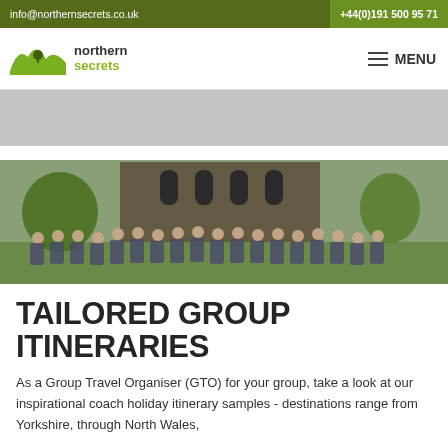info@northernsecrets.co.uk | +44(0)191 500 95 71
[Figure (logo): Northern Secrets logo with green hills and tree SVG mark, text 'northern secrets' beside it, and MENU hamburger icon on right]
[Figure (photo): Gray hero banner placeholder area]
[Figure (photo): Group photo of approximately 20 tourists standing in front of a large stone cathedral or church building on a sunny day with green trees]
TAILORED GROUP ITINERARIES
As a Group Travel Organiser (GTO) for your group, take a look at our inspirational coach holiday itinerary samples - destinations range from Yorkshire, through North Wales,